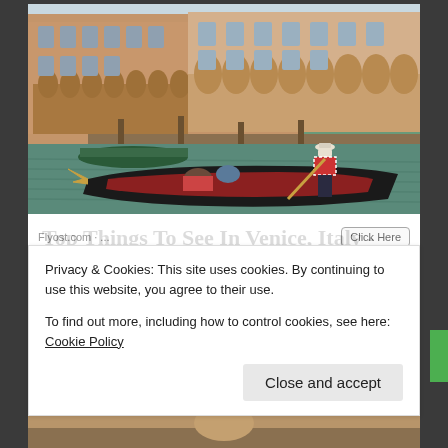[Figure (photo): Venice canal scene with a gondolier in a red and white striped shirt steering a gondola with passengers, with historic Venetian buildings in the background and other boats on the water]
Top Things To See In Venice, Italy - Flyost.com
Privacy & Cookies: This site uses cookies. By continuing to use this website, you agree to their use.
To find out more, including how to control cookies, see here: Cookie Policy
Close and accept
[Figure (photo): Partial bottom image strip showing Venice scenery]